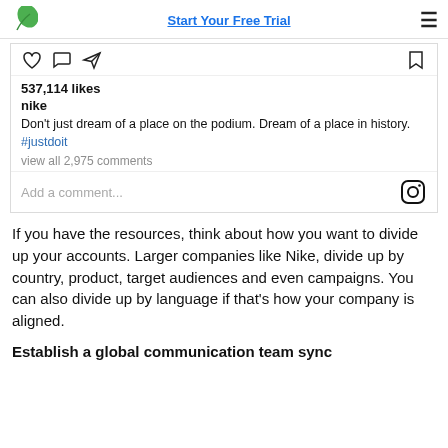Start Your Free Trial
[Figure (screenshot): Instagram post from nike with 537,114 likes. Caption: Don't just dream of a place on the podium. Dream of a place in history. #justdoit. view all 2,975 comments. Add a comment... input field with Instagram icon.]
If you have the resources, think about how you want to divide up your accounts. Larger companies like Nike, divide up by country, product, target audiences and even campaigns. You can also divide up by language if that's how your company is aligned.
Establish a global communication team sync